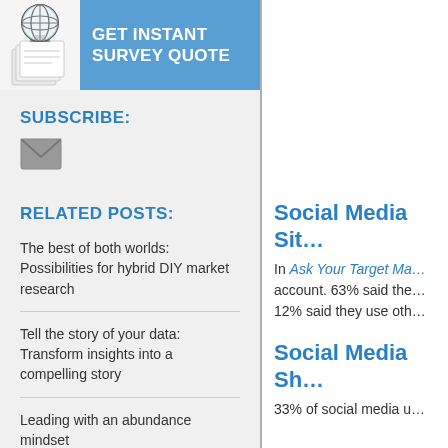[Figure (illustration): Globe icon with document/papers beneath it on a white background panel, next to a blue banner with text 'GET INSTANT SURVEY QUOTE']
SUBSCRIBE:
[Figure (illustration): Email envelope icon]
RELATED POSTS:
The best of both worlds: Possibilities for hybrid DIY market research
Tell the story of your data: Transform insights into a compelling story
Leading with an abundance mindset
Q4 2021 Feature Releases
Social Media Sit…
In Ask Your Target Ma… account. 63% said the… 12% said they use oth…
Social Media Sh…
33% of social media u…